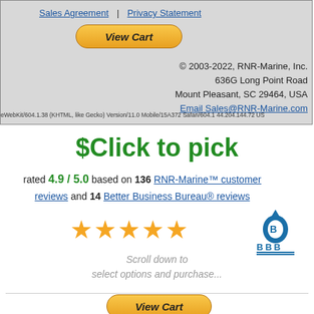Sales Agreement | Privacy Statement
© 2003-2022, RNR-Marine, Inc. 636G Long Point Road Mount Pleasant, SC 29464, USA Email Sales@RNR-Marine.com
eWebKit/604.1.38 (KHTML, like Gecko) Version/11.0 Mobile/15A372 Safari/604.1 44.204.144.72 US
$Click to pick
rated 4.9 / 5.0 based on 136 RNR-Marine™ customer reviews and 14 Better Business Bureau® reviews
[Figure (infographic): Five gold star rating icons]
[Figure (logo): Better Business Bureau (BBB) logo in blue]
Scroll down to select options and purchase...
View Cart